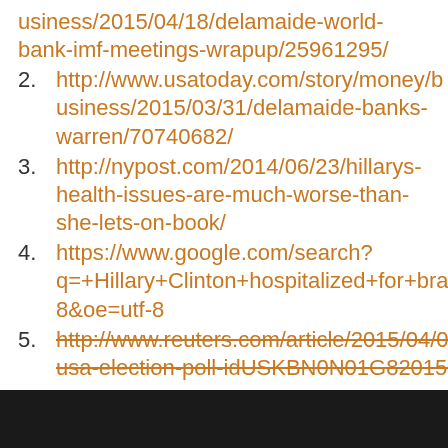usiness/2015/04/18/delamaide-world-bank-imf-meetings-wrapup/25961295/
2. http://www.usatoday.com/story/money/business/2015/03/31/delamaide-banks-warren/70740682/
3. http://nypost.com/2014/06/23/hillarys-health-issues-are-much-worse-than-she-lets-on-book/
4. https://www.google.com/search?q=+Hillary+Clinton+hospitalized+for+brain+problem&ie=utf-8&oe=utf-8
5. http://www.reuters.com/article/2015/04/09/us-usa-election-poll-idUSKBN0N01G820150409
[Figure (photo): Dark bar at bottom of page, partial image visible]